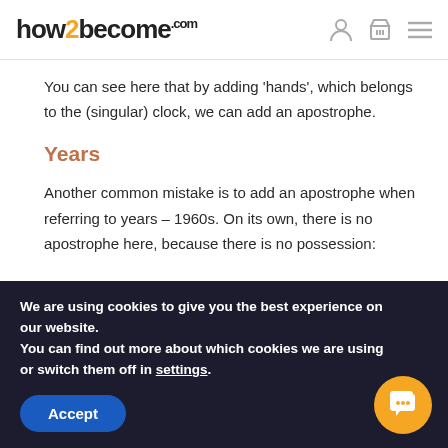how2become.com
You can see here that by adding ‘hands’, which belongs to the (singular) clock, we can add an apostrophe.
Years
Another common mistake is to add an apostrophe when referring to years – 1960s. On its own, there is no apostrophe here, because there is no possession:
We are using cookies to give you the best experience on our website.
You can find out more about which cookies we are using or switch them off in settings.
Accept